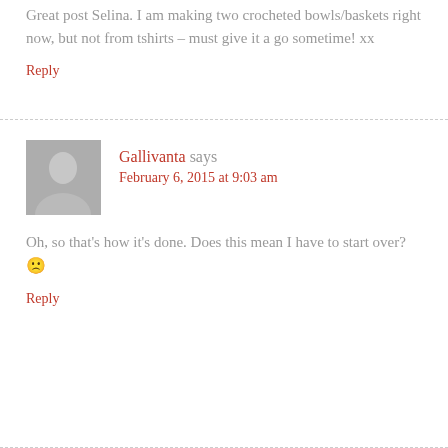Great post Selina. I am making two crocheted bowls/baskets right now, but not from tshirts – must give it a go sometime! xx
Reply
Gallivanta says February 6, 2015 at 9:03 am
Oh, so that's how it's done. Does this mean I have to start over? 🙁
Reply